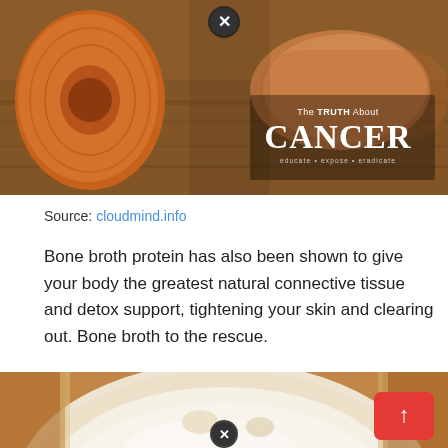[Figure (photo): Photo of carrots and vegetables on a wooden cutting board with 'The Truth About Cancer' brand logo overlay. A close/dismiss button (X) is visible at the top center.]
Source: cloudmind.info
Bone broth protein has also been shown to give your body the greatest natural connective tissue and detox support, tightening your skin and clearing out. Bone broth to the rescue.
[Figure (photo): Close-up photo of a glass jar filled with white/cream colored liquid (bone broth) with a close/dismiss button (X) at the bottom center and a red scroll-to-top button at bottom right.]